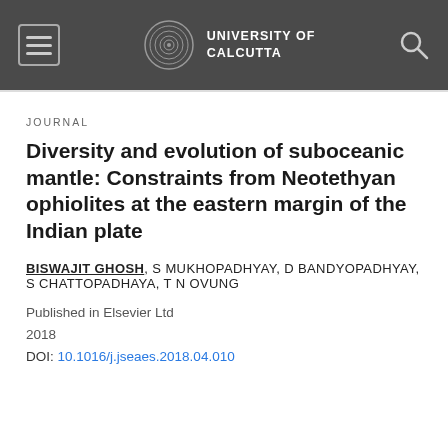UNIVERSITY OF CALCUTTA
JOURNAL
Diversity and evolution of suboceanic mantle: Constraints from Neotethyan ophiolites at the eastern margin of the Indian plate
BISWAJIT GHOSH, S MUKHOPADHYAY, D BANDYOPADHYAY, S CHATTOPADHAYA, T N OVUNG
Published in Elsevier Ltd
2018
DOI: 10.1016/j.jseaes.2018.04.010